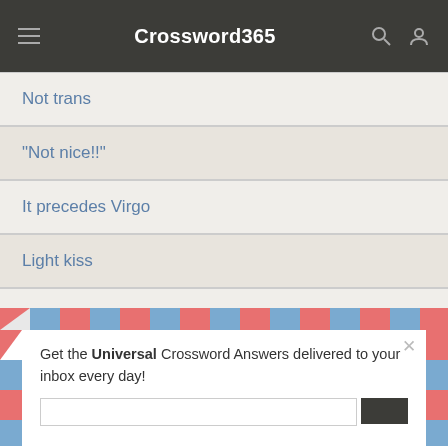Crossword365
Not trans
"Not nice!!"
It precedes Virgo
Light kiss
Get the Universal Crossword Answers delivered to your inbox every day!